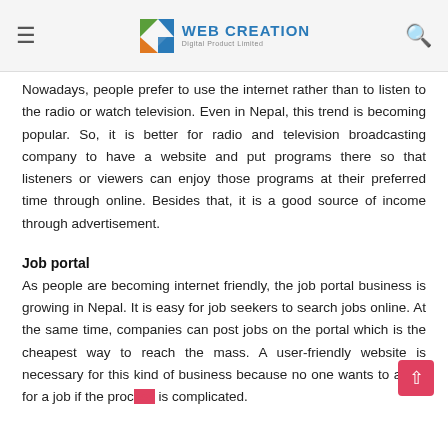Web Creation
Nowadays, people prefer to use the internet rather than to listen to the radio or watch television. Even in Nepal, this trend is becoming popular. So, it is better for radio and television broadcasting company to have a website and put programs there so that listeners or viewers can enjoy those programs at their preferred time through online. Besides that, it is a good source of income through advertisement.
Job portal
As people are becoming internet friendly, the job portal business is growing in Nepal. It is easy for job seekers to search jobs online. At the same time, companies can post jobs on the portal which is the cheapest way to reach the mass. A user-friendly website is necessary for this kind of business because no one wants to apply for a job if the process is complicated.